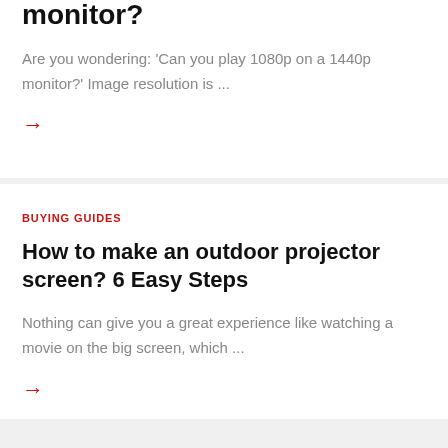monitor?
Are you wondering: 'Can you play 1080p on a 1440p monitor?'  Image resolution is ...
→
BUYING GUIDES
How to make an outdoor projector screen? 6 Easy Steps
Nothing can give you a great experience like watching a movie on the big screen, which ...
→